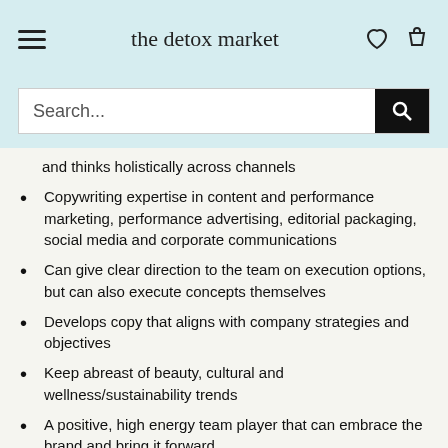the detox market
[Figure (screenshot): Search bar with magnifying glass icon on light blue background]
and thinks holistically across channels
Copywriting expertise in content and performance marketing, performance advertising, editorial packaging, social media and corporate communications
Can give clear direction to the team on execution options, but can also execute concepts themselves
Develops copy that aligns with company strategies and objectives
Keep abreast of beauty, cultural and wellness/sustainability trends
A positive, high energy team player that can embrace the brand and bring it forward
The...